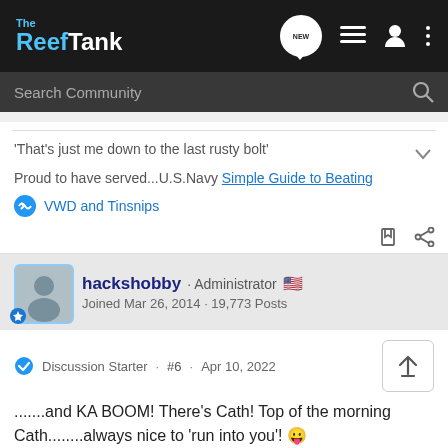The Reef Tank — header with logo and navigation icons
Search Community
'That's just me down to the last rusty bolt'
Proud to have served...U.S.Navy Simple Guide to Beating
VWD and Tinsnips
hackshobby · Administrator
Joined Mar 26, 2014 · 19,773 Posts
Discussion Starter · #6 · Apr 10, 2022
.......and KA BOOM! There's Cath! Top of the morning Cath........always nice to 'run into you'! 😛